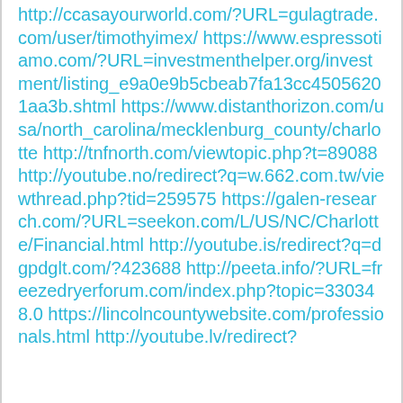http://ccasayourworld.com/?URL=gulagtrade.com/user/timothyimex/ https://www.espressotiamo.com/?URL=investmenthelper.org/investment/listing_e9a0e9b5cbeab7fa13cc4505620 1aa3b.shtml https://www.distanthorizon.com/usa/north_carolina/mecklenburg_county/charlotte http://tnfnorth.com/viewtopic.php?t=89088 http://youtube.no/redirect?q=w.662.com.tw/viewthread.php?tid=259575 https://galen-research.com/?URL=seekon.com/L/US/NC/Charlotte/Financial.html http://youtube.is/redirect?q=dgpdglt.com/?423688 http://peeta.info/?URL=freezedryerforum.com/index.php?topic=330348.0 https://lincolncountywebsite.com/professionals.html http://youtube.lv/redirect?